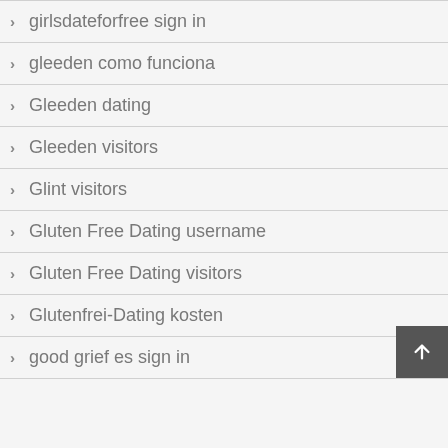girlsdateforfree sign in
gleeden como funciona
Gleeden dating
Gleeden visitors
Glint visitors
Gluten Free Dating username
Gluten Free Dating visitors
Glutenfrei-Dating kosten
good grief es sign in